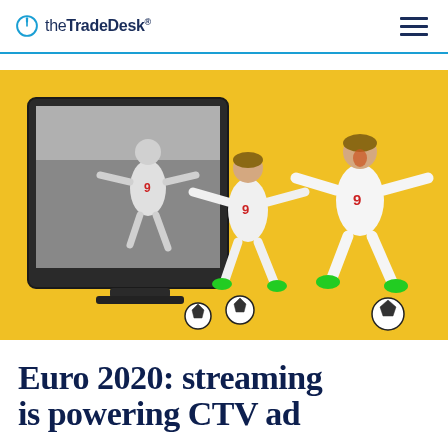theTradeDesk
[Figure (photo): Hero image on yellow background showing a footballer (wearing England kit number 9) celebrating a goal, depicted three times in a sequence — once inside a greyscale TV screen and twice in color jumping out of the screen with footballs on the ground.]
Euro 2020: streaming is powering CTV ad